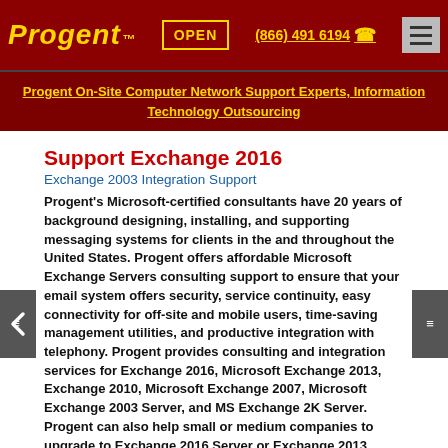Progent™  OPEN  (866) 491 6194  ☎
Progent On-Site Computer Network Support Experts, Information Technology Outsourcing
Support Exchange 2016
Exchange 2003 Integration Support
Progent's Microsoft-certified consultants have 20 years of background designing, installing, and supporting messaging systems for clients in the and throughout the United States. Progent offers affordable Microsoft Exchange Servers consulting support to ensure that your email system offers security, service continuity, easy connectivity for off-site and mobile users, time-saving management utilities, and productive integration with telephony. Progent provides consulting and integration services for Exchange 2016, Microsoft Exchange 2013, Exchange 2010, Microsoft Exchange 2007, Microsoft Exchange 2003 Server, and MS Exchange 2K Server. Progent can also help small or medium companies to upgrade to Exchange 2016 Server or Exchange 2013.